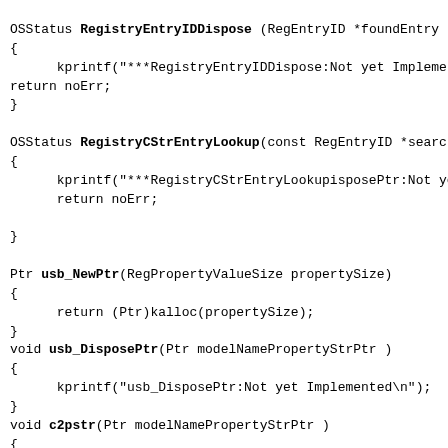OSStatus RegistryEntryIDDispose (RegEntryID *foundEntry)
{
	kprintf("***RegistryEntryIDDispose:Not yet Impleme
return noErr;
}

OSStatus RegistryCStrEntryLookup(const RegEntryID *search
{
		kprintf("***RegistryCStrEntryLookupisposePtr:Not ye
		return noErr;

}

Ptr usb_NewPtr(RegPropertyValueSize propertySize)
{
	return (Ptr)kalloc(propertySize);
}
void usb_DisposePtr(Ptr modelNamePropertyStrPtr )
{
		kprintf("usb_DisposePtr:Not yet Implemented\n");
}
void c2pstr(Ptr modelNamePropertyStrPtr )
{
kprintf("c2pstr:Not yet Implemented\n");
}
OSStatus CompareString(Str255 inMachineNameStr, Str255 Ma
{
		return strcmp((char *)inMachineNameStr, (char *) Mac
}
OSStatus RegistryPropertyGetSize(const RegEntryID *entry)
{